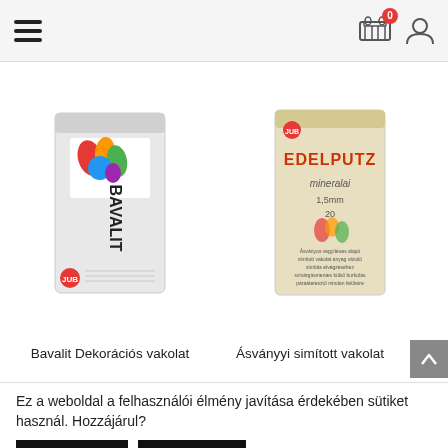Navigation header with hamburger menu, cart (0 items), and user icon
[Figure (photo): Bavalit Dekorációs vakolat product bag - white bag with colorful paint splatter logo]
[Figure (photo): Ásványi simított vakolat product bag - beige bag with Edelputz mineralai label]
Bavalit Dekorációs vakolat
Ásványi simított vakolat
Ez a weboldal a felhasználói élmény javítása érdekében sütiket használ. Hozzájárul?
Elfogadom
Elutasítom
Bővebben